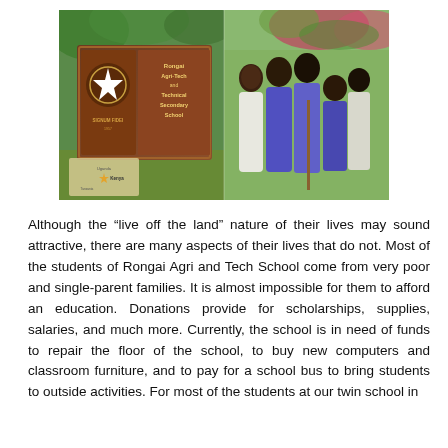[Figure (photo): Photo of Rongai Agri and Tech Secondary School sign on the left side with school crest and star emblem, and a group of five African students/young men standing outdoors with flowers in background on the right side. A small inset map shows the location in Kenya.]
Although the “live off the land” nature of their lives may sound attractive, there are many aspects of their lives that do not. Most of the students of Rongai Agri and Tech School come from very poor and single-parent families. It is almost impossible for them to afford an education. Donations provide for scholarships, supplies, salaries, and much more. Currently, the school is in need of funds to repair the floor of the school, to buy new computers and classroom furniture, and to pay for a school bus to bring students to outside activities. For most of the students at our twin school in